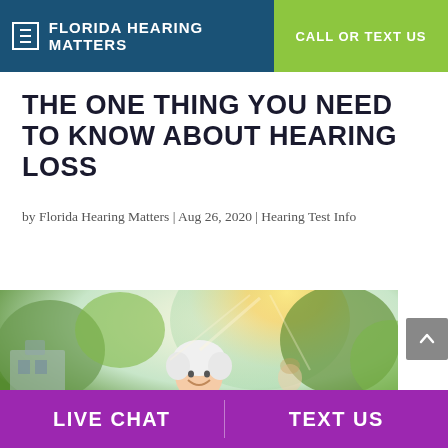FLORIDA HEARING MATTERS | CALL OR TEXT US
THE ONE THING YOU NEED TO KNOW ABOUT HEARING LOSS
by Florida Hearing Matters | Aug 26, 2020 | Hearing Test Info
[Figure (photo): Smiling elderly woman with white hair outdoors, arms outstretched, with bright sunlight and greenery in background]
LIVE CHAT | TEXT US